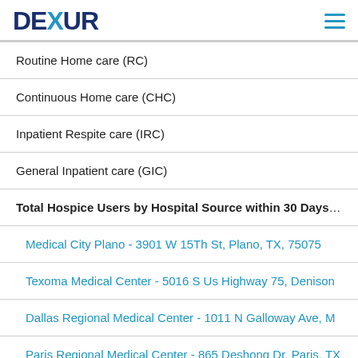DEXUR
Routine Home care (RC)
Continuous Home care (CHC)
Inpatient Respite care (IRC)
General Inpatient care (GIC)
Total Hospice Users by Hospital Source within 30 Days of Ho
Medical City Plano - 3901 W 15Th St, Plano, TX, 75075
Texoma Medical Center - 5016 S Us Highway 75, Denison
Dallas Regional Medical Center - 1011 N Galloway Ave, M
Paris Regional Medical Center - 865 Deshong Dr, Paris, TX
Hunt Regional Medical Center - 4215 Joe Ramsey Blvd, G